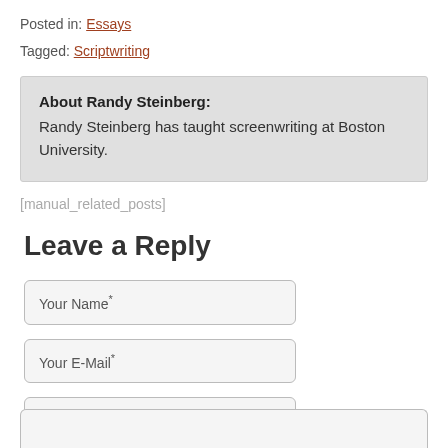Posted in: Essays
Tagged: Scriptwriting
About Randy Steinberg: Randy Steinberg has taught screenwriting at Boston University.
[manual_related_posts]
Leave a Reply
Your Name*
Your E-Mail*
Got a website?